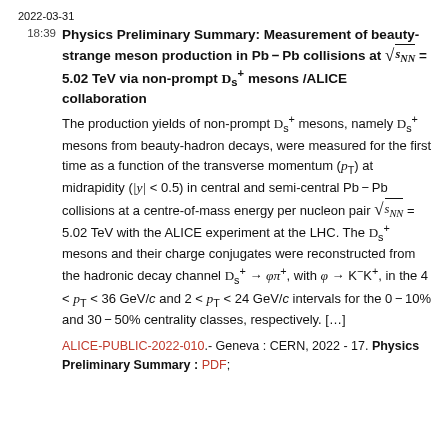2022-03-31
Physics Preliminary Summary: Measurement of beauty-strange meson production in Pb–Pb collisions at √sNN = 5.02 TeV via non-prompt Ds+ mesons /ALICE collaboration
The production yields of non-prompt Ds+ mesons, namely Ds+ mesons from beauty-hadron decays, were measured for the first time as a function of the transverse momentum (pT) at midrapidity (|y| < 0.5) in central and semi-central Pb–Pb collisions at a centre-of-mass energy per nucleon pair √sNN = 5.02 TeV with the ALICE experiment at the LHC. The Ds+ mesons and their charge conjugates were reconstructed from the hadronic decay channel Ds+ → φπ+, with φ → K⁻K⁺, in the 4 < pT < 36 GeV/c and 2 < pT < 24 GeV/c intervals for the 0–10% and 30–50% centrality classes, respectively. [...]
ALICE-PUBLIC-2022-010.- Geneva : CERN, 2022 - 17. Physics Preliminary Summary : PDF;